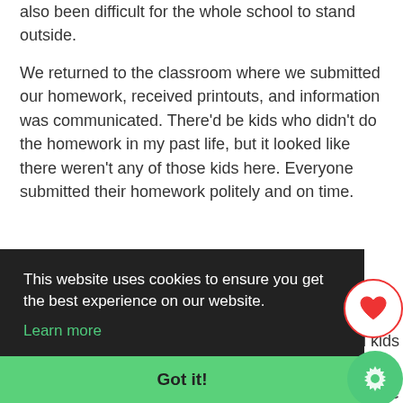also been difficult for the whole school to stand outside.
We returned to the classroom where we submitted our homework, received printouts, and information was communicated. There'd be kids who didn't do the homework in my past life, but it looked like there weren't any of those kids here. Everyone submitted their homework politely and on time.
That was definitely good, but... in a normal school,
d kids ld've e ork
This website uses cookies to ensure you get the best experience on our website. Learn more
Got it!
didn't seem very individualistic? If everyone acted